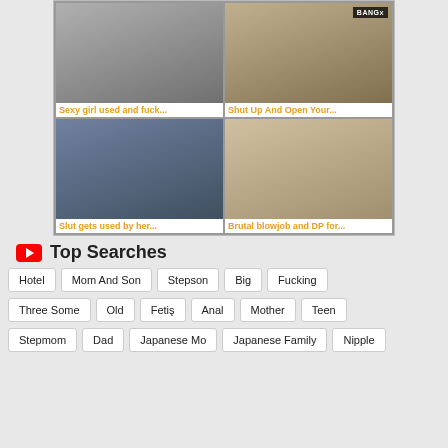[Figure (other): Ad grid with four adult video thumbnails: 'Sexy girl used and fuck...', 'Shut Up And Open Your...', 'Slut gets used by her...', 'Brutal blowjob and DP for...']
Top Searches
Hotel
Mom And Son
Stepson
Big
Fucking
Three Some
Old
Fetiş
Anal
Mother
Teen
Stepmom
Dad
Japanese Mo
Japanese Family
Nipple